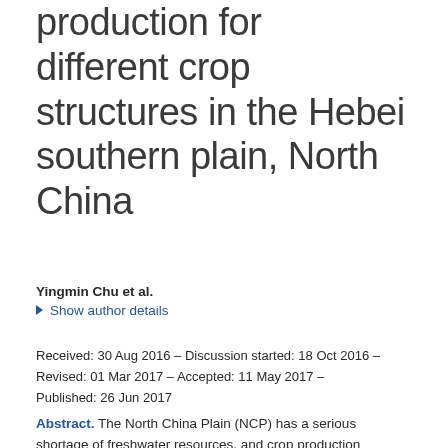production for different crop structures in the Hebei southern plain, North China
Yingmin Chu et al.
▶ Show author details
Received: 30 Aug 2016 – Discussion started: 18 Oct 2016 – Revised: 01 Mar 2017 – Accepted: 11 May 2017 – Published: 26 Jun 2017
Abstract. The North China Plain (NCP) has a serious shortage of freshwater resources, and crop production consumes